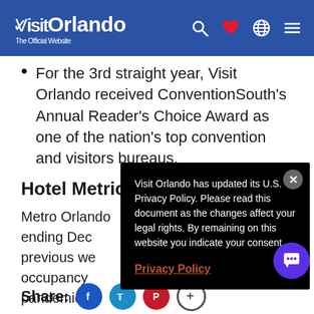Visit Orlando – The Official Website
For the 3rd straight year, Visit Orlando received ConventionSouth's Annual Reader's Choice Award as one of the nation's top convention and visitors bureaus.
Hotel Metrics
Metro Orlando... ending Dec... previous we... occupancy... pandemic.
[Figure (screenshot): Privacy policy popup overlay with text: Visit Orlando has updated its U.S. Privacy Policy. Please read this document as the changes affect your legal rights. By remaining on this website you indicate your consent. With a Privacy Policy link.]
Share: